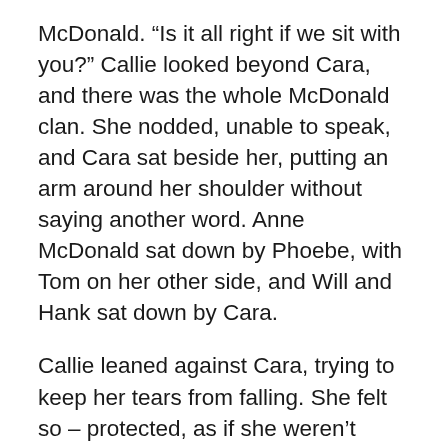McDonald. “Is it all right if we sit with you?” Callie looked beyond Cara, and there was the whole McDonald clan. She nodded, unable to speak, and Cara sat beside her, putting an arm around her shoulder without saying another word. Anne McDonald sat down by Phoebe, with Tom on her other side, and Will and Hank sat down by Cara.
Callie leaned against Cara, trying to keep her tears from falling. She felt so – protected, as if she weren’t really alone anymore. She remembered what Cara had said yesterday, “We will be there for you,” and one tear escaped, trailing down her cheek. Cara tightened her arm around Callie’s shoulder.
The next...